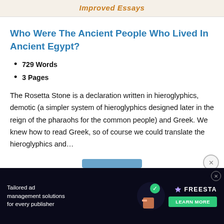Improved Essays
Who Were The Ancient People Who Lived In Ancient Egypt?
729 Words
3 Pages
The Rosetta Stone is a declaration written in hieroglyphics, demotic (a simpler system of hieroglyphics designed later in the reign of the pharaohs for the common people) and Greek. We knew how to read Greek, so of course we could translate the hieroglyphics and…
[Figure (screenshot): Advertisement banner: Tailored ad management solutions for every publisher — FREESTA with LEARN MORE button]